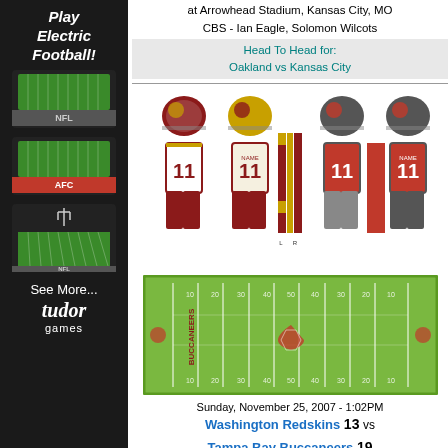[Figure (advertisement): Tudor Games Electric Football advertisement with three football field game images stacked vertically on black background]
at Arrowhead Stadium, Kansas City, MO
CBS - Ian Eagle, Solomon Wilcots
Head To Head for:
Oakland vs Kansas City
[Figure (illustration): Washington Redskins and Tampa Bay Buccaneers uniform illustrations showing home and away jerseys for both teams with #11 displayed]
[Figure (illustration): Tampa Bay Buccaneers football field diagram with yard lines and team logo in center, Buccaneers text on sidelines]
Sunday, November 25, 2007 - 1:02PM
Washington Redskins 13 vs
Tampa Bay Buccaneers 19
at Raymond James Stadium, Tampa, FL